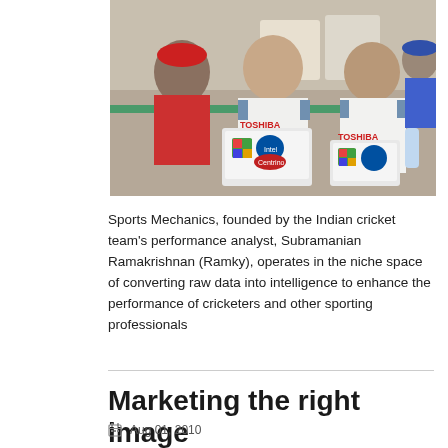[Figure (photo): Three men sitting together, wearing white Nike cricket jerseys. The man in the center and the man on the right are using Toshiba laptops with Windows and Intel Centrino logos visible. Several plastic chairs are in the background. The setting appears to be an indoor/outdoor venue.]
Sports Mechanics, founded by the Indian cricket team's performance analyst, Subramanian Ramakrishnan (Ramky), operates in the niche space of converting raw data into intelligence to enhance the performance of cricketers and other sporting professionals
Marketing the right image
Aug 01, 2010